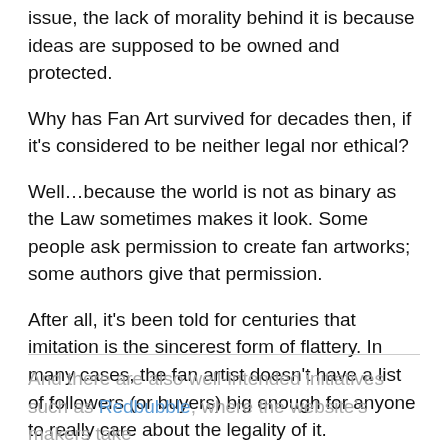issue, the lack of morality behind it is because ideas are supposed to be owned and protected.
Why has Fan Art survived for decades then, if it's considered to be neither legal nor ethical?
Well…because the world is not as binary as the Law sometimes makes it look. Some people ask permission to create fan artworks; some authors give that permission.
After all, it's been told for centuries that imitation is the sincerest form of flattery. In many cases, the fan artist doesn't have a list of followers (or buyers) big enough for anyone to really care about the legality of it.
And there are also well-intended initiatives such as Redbubble, where the website's makers take